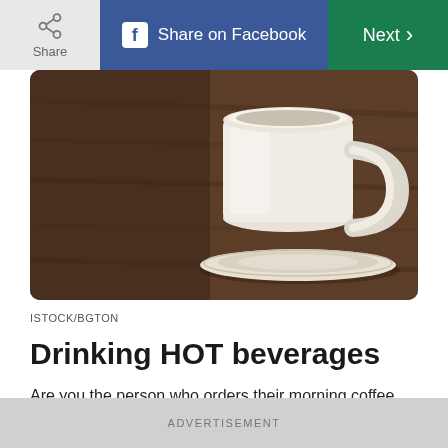Share   Share on Facebook   Next
[Figure (photo): A white ceramic coffee cup on a saucer placed on a wooden table, photographed from above/side angle with warm tones]
ISTOCK/BGTON
Drinking HOT beverages
Are you the person who orders their morning coffee extra piping hot? You may want to think twice. A systematic review in the International Journal of Cancer of studies on the temperature of beverages found that hot drinks could increase